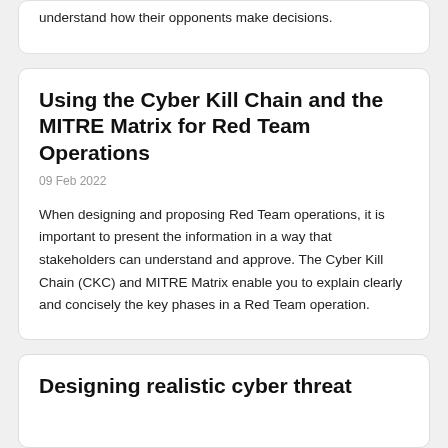understand how their opponents make decisions.
Using the Cyber Kill Chain and the MITRE Matrix for Red Team Operations
09 Feb 2022
When designing and proposing Red Team operations, it is important to present the information in a way that stakeholders can understand and approve. The Cyber Kill Chain (CKC) and MITRE Matrix enable you to explain clearly and concisely the key phases in a Red Team operation.
Designing realistic cyber threat